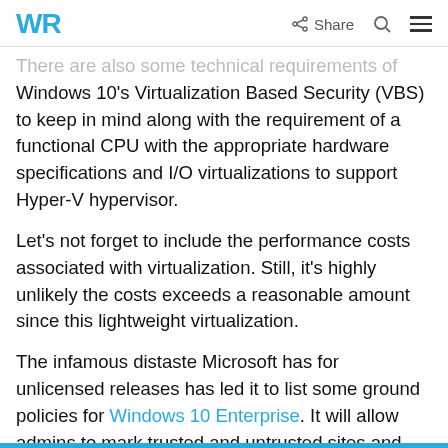WR | Share
There are also some technical requirements of Windows 10’s Virtualization Based Security (VBS) to keep in mind along with the requirement of a functional CPU with the appropriate hardware specifications and I/O virtualizations to support Hyper-V hypervisor.
Let’s not forget to include the performance costs associated with virtualization. Still, it’s highly unlikely the costs exceeds a reasonable amount since this lightweight virtualization.
The infamous distaste Microsoft has for unlicensed releases has led it to list some ground policies for Windows 10 Enterprise. It will allow admins to mark trusted and untrusted sites and allow only basic operations for untrusted ones,